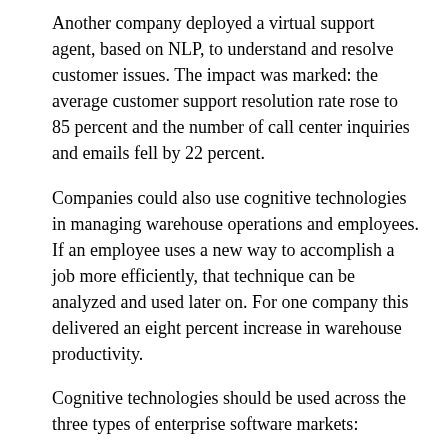Another company deployed a virtual support agent, based on NLP, to understand and resolve customer issues. The impact was marked: the average customer support resolution rate rose to 85 percent and the number of call center inquiries and emails fell by 22 percent.
Companies could also use cognitive technologies in managing warehouse operations and employees. If an employee uses a new way to accomplish a job more efficiently, that technique can be analyzed and used later on. For one company this delivered an eight percent increase in warehouse productivity.
Cognitive technologies should be used across the three types of enterprise software markets:
The Enterprise Application Software market focuses on leveraging the power of computers to achieve business, professional or personal goals. One company’s cloud solution features a client-targeting tool that aims to solve the difficulty of marketing to large volumes of anonymous online traffic. It uses machine learning to discover associations between the behavior of a new site visitor and the actions taken by previous visitors who behaved